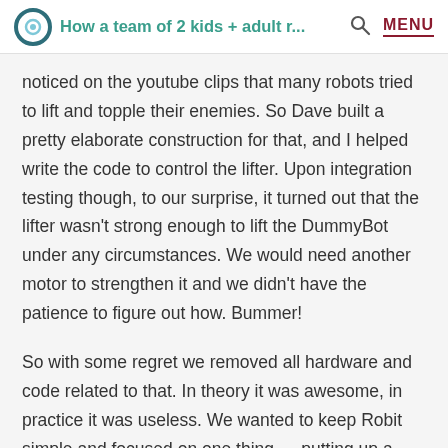How a team of 2 kids + adult r...  MENU
noticed on the youtube clips that many robots tried to lift and topple their enemies. So Dave built a pretty elaborate construction for that, and I helped write the code to control the lifter. Upon integration testing though, to our surprise, it turned out that the lifter wasn't strong enough to lift the DummyBot under any circumstances. We would need another motor to strengthen it and we didn't have the patience to figure out how. Bummer!
So with some regret we removed all hardware and code related to that. In theory it was awesome, in practice it was useless. We wanted to keep Robit simple and focused on one thing — putting up a